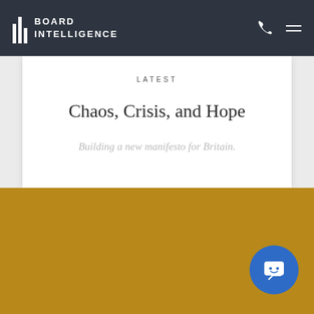BOARD INTELLIGENCE
LATEST
Chaos, Crisis, and Hope
Building a new manifesto for Britain.